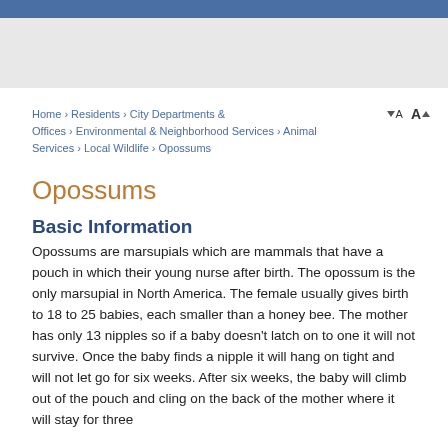Home › Residents › City Departments & Offices › Environmental & Neighborhood Services › Animal Services › Local Wildlife › Opossums
Opossums
Basic Information
Opossums are marsupials which are mammals that have a pouch in which their young nurse after birth. The opossum is the only marsupial in North America. The female usually gives birth to 18 to 25 babies, each smaller than a honey bee. The mother has only 13 nipples so if a baby doesn't latch on to one it will not survive. Once the baby finds a nipple it will hang on tight and will not let go for six weeks. After six weeks, the baby will climb out of the pouch and cling on the back of the mother where it will stay for three